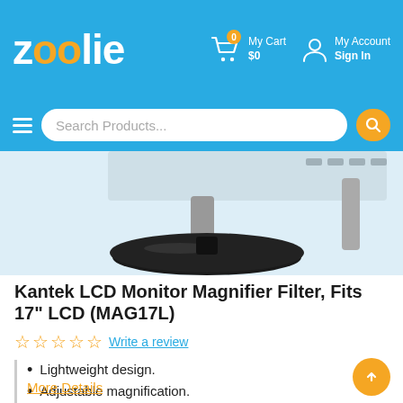zoolie — My Cart $0 — My Account Sign In
[Figure (screenshot): Zoolie e-commerce website header with blue background, logo 'zoolie' in white with orange double-o, shopping cart icon with orange badge showing 0, My Cart $0 label, person icon and My Account Sign In label, hamburger menu, rounded search bar with 'Search Products...' placeholder, and orange search button.]
[Figure (photo): Product photo showing bottom/stand portion of a monitor magnifier filter — black oval base with monitor stand and back of monitor visible against light background.]
Kantek LCD Monitor Magnifier Filter, Fits 17" LCD (MAG17L)
☆ ☆ ☆ ☆ ☆ Write a review
Lightweight design.
Adjustable magnification.
Fresnel lens with antiglare coating.
More Details